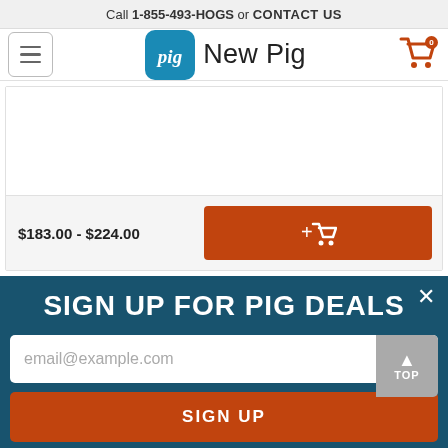Call 1-855-493-HOGS or CONTACT US
[Figure (screenshot): New Pig website navigation bar with hamburger menu, pig logo, and shopping cart icon showing 0 items]
$183.00 - $224.00
[Figure (other): Add to cart button (orange/red) with cart icon]
SIGN UP FOR PIG DEALS
email@example.com
SIGN UP